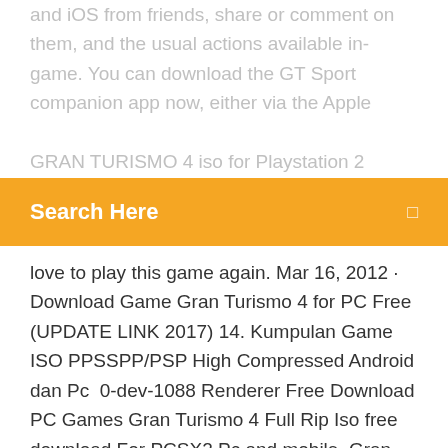May 2018 · Polyphony Launched GT Sport Mobile App on Android and iOS from friends, share or comment on them, and the usual actions available in-game. You can download the GT Sport companion app now, either via the Apple
GRAN TURISMO 4 iso for Playstation 2 (PS2) and play GRAN TURISMO 4 on your devices windows, pc, mac, ios and android!
Search Here
love to play this game again. Mar 16, 2012 · Download Game Gran Turismo 4 for PC Free (UPDATE LINK 2017) 14. Kumpulan Game ISO PPSSPP/PSP High Compressed Android dan Pc  0-dev-1088 Renderer Free Download PC Games Gran Turismo 4 Full Rip Iso free download For PCSX2 Pc and mobile ,Gran Turismo 3 A spec apk android  Gran Turismo 6 PC Download now available. Gran Turismo 6 is the version of the popular series of racing games, it was created by Kazunori Yamauchi and. Hey Today Explain How To Download and Install Gran